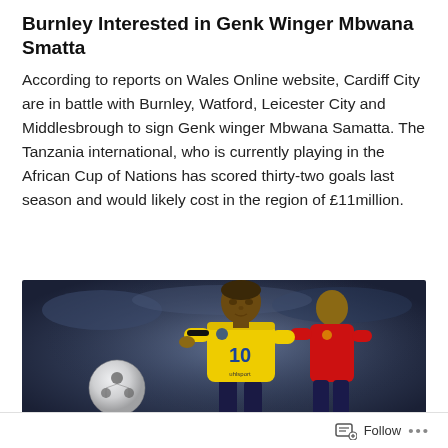Burnley Interested in Genk Winger Mbwana Smatta
According to reports on Wales Online website, Cardiff City are in battle with Burnley, Watford, Leicester City and Middlesbrough to sign Genk winger Mbwana Samatta. The Tanzania international, who is currently playing in the African Cup of Nations has scored thirty-two goals last season and would likely cost in the region of £11million.
[Figure (photo): Football/soccer photo showing a player in a yellow Tanzania number 10 jersey dribbling the ball, with an opponent in a red jersey in the background and a football to the left.]
Follow ...